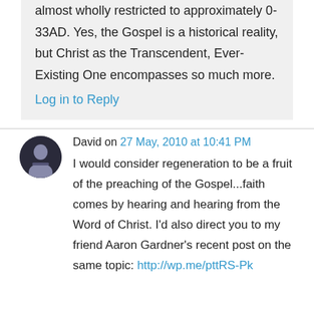almost wholly restricted to approximately 0-33AD. Yes, the Gospel is a historical reality, but Christ as the Transcendent, Ever-Existing One encompasses so much more.
Log in to Reply
David on 27 May, 2010 at 10:41 PM
I would consider regeneration to be a fruit of the preaching of the Gospel...faith comes by hearing and hearing from the Word of Christ. I'd also direct you to my friend Aaron Gardner's recent post on the same topic: http://wp.me/pttRS-Pk